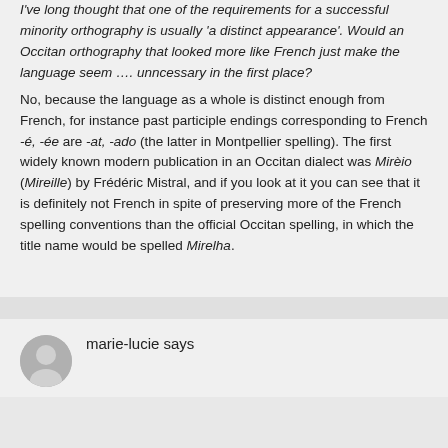I've long thought that one of the requirements for a successful minority orthography is usually 'a distinct appearance'. Would an Occitan orthography that looked more like French just make the language seem …. unncessary in the first place?
No, because the language as a whole is distinct enough from French, for instance past participle endings corresponding to French -é, -ée are -at, -ado (the latter in Montpellier spelling). The first widely known modern publication in an Occitan dialect was Mirèio (Mireille) by Frédéric Mistral, and if you look at it you can see that it is definitely not French in spite of preserving more of the French spelling conventions than the official Occitan spelling, in which the title name would be spelled Mirelha.
marie-lucie says